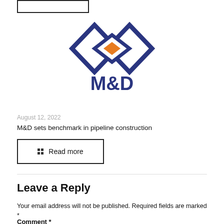[Figure (logo): M&D company logo with two overlapping diamond shapes in dark blue and an orange diamond in center, with M&D text below in dark blue bold font]
August 12, 2022
M&D sets benchmark in pipeline construction
Read more
Leave a Reply
Your email address will not be published. Required fields are marked *
Comment *